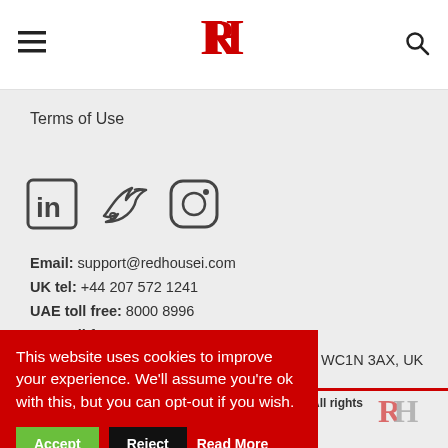Red House International
Terms of Use
[Figure (illustration): Social media icons: LinkedIn, Twitter, Instagram]
Email: support@redhousei.com
UK tel: +44 207 572 1241
UAE toll free: 8000 8996
USA toll free: 1 888 500 2903
Address: 27 Old Gloucester Street, London, WC1N 3AX, UK
This website uses cookies to improve your experience. We'll assume you're ok with this, but you can opt-out if you wish.
Accept  Reject  Read More
national. All rights